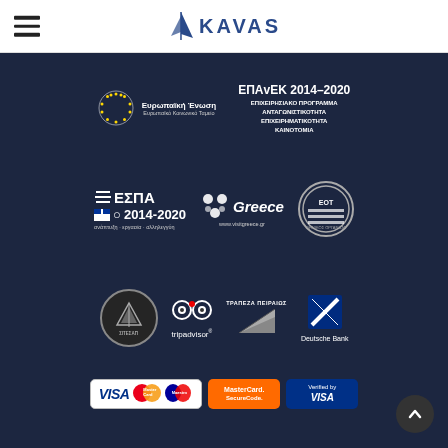[Figure (logo): Kavas Yachting website header with hamburger menu icon and KAVAS sailing logo]
[Figure (logo): EPAvEK 2014-2020 EU funding logos - European Union / Europaikó Koinonikó Tameío and EPAvEK program logo]
[Figure (logo): ESPA 2014-2020, Visit Greece, and EOT logos]
[Figure (logo): SITESAP, Tripadvisor, Trapeza Peiraios, and Deutsche Bank logos]
[Figure (logo): Payment logos: VISA, MasterCard, Maestro, MasterCard SecureCode, Verified by VISA]